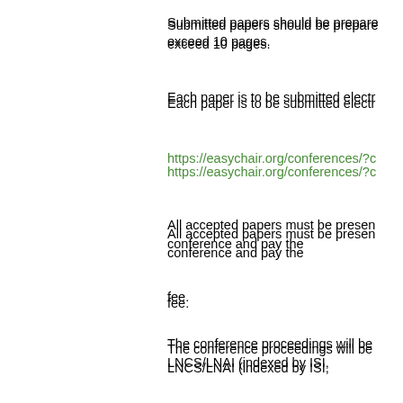Submitted papers should be prepared ... exceed 10 pages.
Each paper is to be submitted electr...
https://easychair.org/conferences/?c...
All accepted papers must be presen... conference and pay the
fee.
The conference proceedings will be ... LNCS/LNAI (indexed by ISI,
EI, DBLP, Inspec, Scopus, etc.).
A selected number of accepted and ... revised for possible
inclusion in special issues in high qu...
********************************
ORGANIZERS